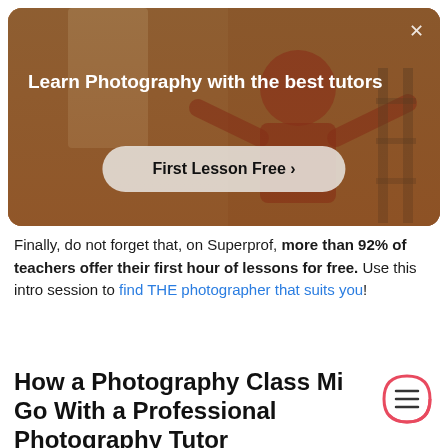[Figure (screenshot): Promotional banner for Superprof photography tutors. Dark warm background with a person in a red shirt. Text: 'Learn Photography with the best tutors' and a button 'First Lesson Free ›'. Close X button in top right corner.]
Finally, do not forget that, on Superprof, more than 92% of teachers offer their first hour of lessons for free. Use this intro session to find THE photographer that suits you!
How a Photography Class Mi Go With a Professional Photography Tutor